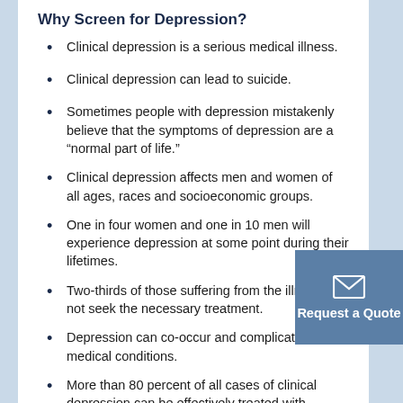Why Screen for Depression?
Clinical depression is a serious medical illness.
Clinical depression can lead to suicide.
Sometimes people with depression mistakenly believe that the symptoms of depression are a “normal part of life.”
Clinical depression affects men and women of all ages, races and socioeconomic groups.
One in four women and one in 10 men will experience depression at some point during their lifetimes.
Two-thirds of those suffering from the illness do not seek the necessary treatment.
Depression can co-occur and complicate other medical conditions.
More than 80 percent of all cases of clinical depression can be effectively treated with